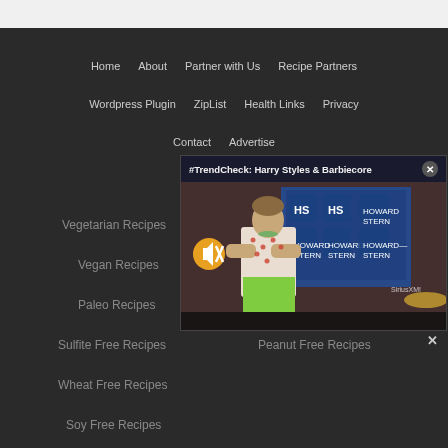Home   About   Partner with Us   Recipe Partners
Wordpress Plugin   ZipList   Health Links   Privacy
Contact   Advertise
Vegetarian Recipes
Vegan Recipes
Paleo Recipes
Sulfite Free Recipes
Peanut Free Recipes
Wheat Free Recipes
Soy Free Recipes
[Figure (screenshot): Video popup overlay showing '#TrendCheck: Harry Styles & Barbiecore' with a thumbnail of Harry Styles standing in a studio with Howard Stern branding, wearing a floral shirt and green pants. A mute button icon is visible. Close button (X) in top right corner.]